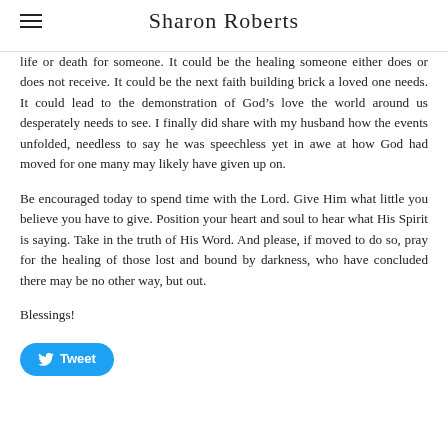Sharon Roberts
life or death for someone. It could be the healing someone either does or does not receive. It could be the next faith building brick a loved one needs. It could lead to the demonstration of God’s love the world around us desperately needs to see. I finally did share with my husband how the events unfolded, needless to say he was speechless yet in awe at how God had moved for one many may likely have given up on.
Be encouraged today to spend time with the Lord. Give Him what little you believe you have to give. Position your heart and soul to hear what His Spirit is saying. Take in the truth of His Word. And please, if moved to do so, pray for the healing of those lost and bound by darkness, who have concluded there may be no other way, but out.
Blessings!
[Figure (other): Blue Twitter Tweet button with bird icon]